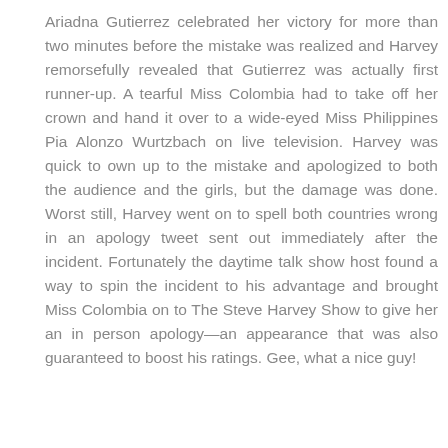Ariadna Gutierrez celebrated her victory for more than two minutes before the mistake was realized and Harvey remorsefully revealed that Gutierrez was actually first runner-up. A tearful Miss Colombia had to take off her crown and hand it over to a wide-eyed Miss Philippines Pia Alonzo Wurtzbach on live television. Harvey was quick to own up to the mistake and apologized to both the audience and the girls, but the damage was done. Worst still, Harvey went on to spell both countries wrong in an apology tweet sent out immediately after the incident. Fortunately the daytime talk show host found a way to spin the incident to his advantage and brought Miss Colombia on to The Steve Harvey Show to give her an in person apology—an appearance that was also guaranteed to boost his ratings. Gee, what a nice guy!